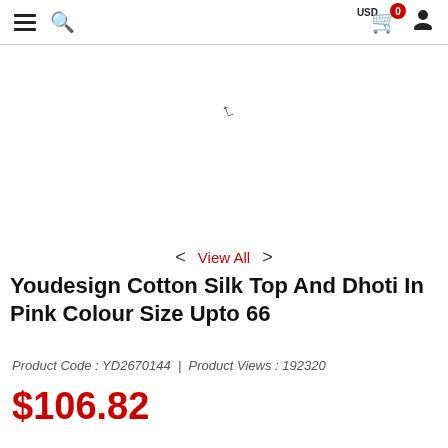Navigation bar with hamburger menu, search icon, cart (0 items, USD), and user icon
[Figure (photo): Empty product image area with a small cursor/arrow mark in the center]
< View All >
Youdesign Cotton Silk Top And Dhoti In Pink Colour Size Upto 66
Product Code : YD2670144  |  Product Views : 192320
$106.82